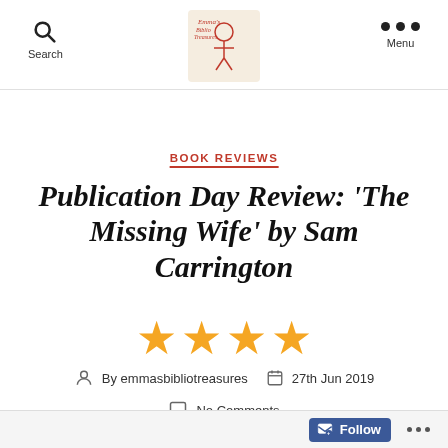Search | Logo | Menu
BOOK REVIEWS
Publication Day Review: 'The Missing Wife' by Sam Carrington ★★★★
By emmasbibliotreasures  27th Jun 2019  No Comments
Follow ...